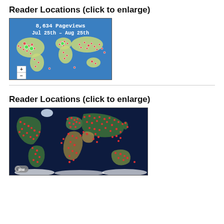Reader Locations (click to enlarge)
[Figure (map): World map with blue background showing reader locations as colored dots (red/pink and green circles) with overlay text '8,634 Pageviews Jul 25th – Aug 25th' and zoom controls (+/-) in the lower left corner.]
Reader Locations (click to enlarge)
[Figure (map): World map with dark navy background showing satellite/terrain imagery of continents with hundreds of small red dots representing reader locations spread across the globe. An 'RM' logo appears in the lower left corner.]